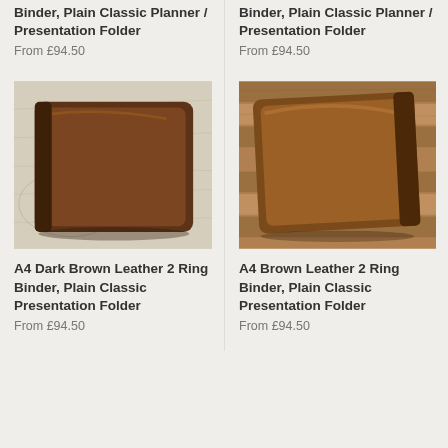Binder, Plain Classic Planner / Presentation Folder
From £94.50
Binder, Plain Classic Planner / Presentation Folder
From £94.50
[Figure (photo): A4 Dark Brown Leather 2 Ring Binder on a map background]
A4 Dark Brown Leather 2 Ring Binder, Plain Classic Presentation Folder
From £94.50
[Figure (photo): A4 Brown Leather 2 Ring Binder on wooden slats background]
A4 Brown Leather 2 Ring Binder, Plain Classic Presentation Folder
From £94.50